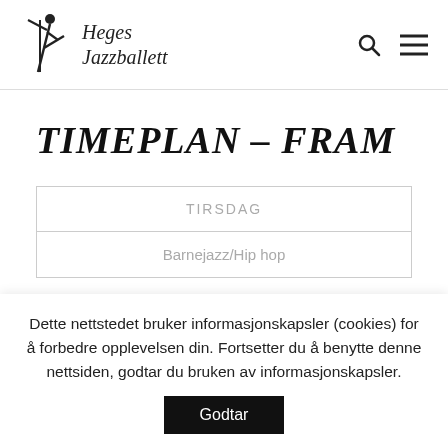Heges Jazzballett
TIMEPLAN – FRAM
| TIRSDAG |
| --- |
| Barnejazz/Hip hop |
Dette nettstedet bruker informasjonskapsler (cookies) for å forbedre opplevelsen din. Fortsetter du å benytte denne nettsiden, godtar du bruken av informasjonskapsler.
Godtar